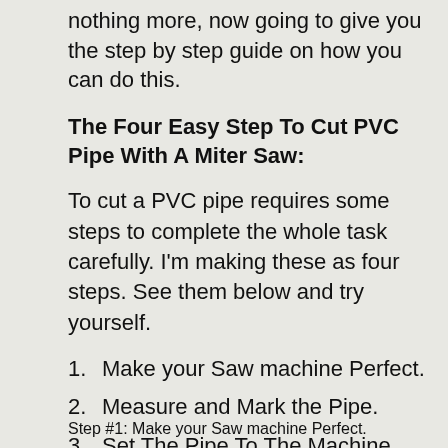nothing more, now going to give you the step by step guide on how you can do this.
The Four Easy Step To Cut PVC Pipe With A Miter Saw:
To cut a PVC pipe requires some steps to complete the whole task carefully. I'm making these as four steps. See them below and try yourself.
Make your Saw machine Perfect.
Measure and Mark the Pipe.
Set The Pipe To The Machine.
And Finally, Start Cut According To Your Needs.
Step #1: Make your Saw machine Perfect.